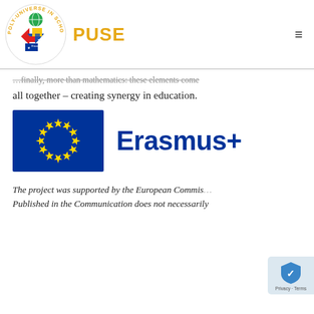[Figure (logo): PUSE - Poly-Universe in School Education Erasmus+ circular logo with colorful geometric shapes]
PUSE
...finally, more than mathematics: these elements come all together – creating synergy in education.
[Figure (logo): Erasmus+ logo: EU flag (blue rectangle with yellow stars circle) and Erasmus+ text in dark blue]
The project was supported by the European Commis… Published in the Communication does not necessarily